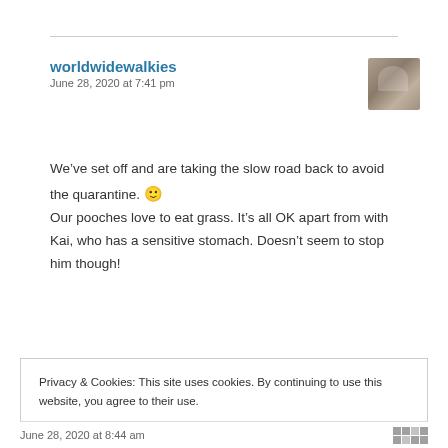worldwidewalkies
June 28, 2020 at 7:41 pm
[Figure (photo): Small avatar photo of a person]
We've set off and are taking the slow road back to avoid the quarantine. 🙂 Our pooches love to eat grass. It's all OK apart from with Kai, who has a sensitive stomach. Doesn't seem to stop him though!
Privacy & Cookies: This site uses cookies. By continuing to use this website, you agree to their use.
To find out more, including how to control cookies, see here: Cookie Policy
Close and accept
June 28, 2020 at 8:44 am